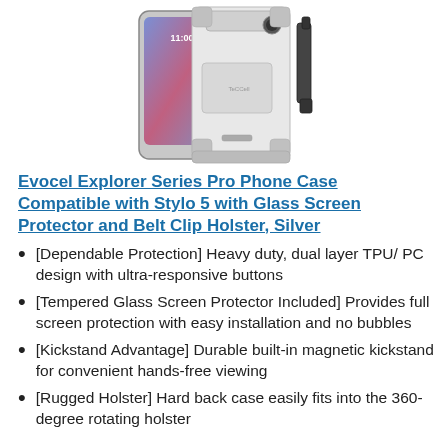[Figure (photo): Product photo of Evocel Explorer Series Pro Phone Case for Stylo 5, shown in silver/white color with belt clip holster and kickstand, displayed alongside a phone.]
Evocel Explorer Series Pro Phone Case Compatible with Stylo 5 with Glass Screen Protector and Belt Clip Holster, Silver
[Dependable Protection] Heavy duty, dual layer TPU/ PC design with ultra-responsive buttons
[Tempered Glass Screen Protector Included] Provides full screen protection with easy installation and no bubbles
[Kickstand Advantage] Durable built-in magnetic kickstand for convenient hands-free viewing
[Rugged Holster] Hard back case easily fits into the 360-degree rotating holster